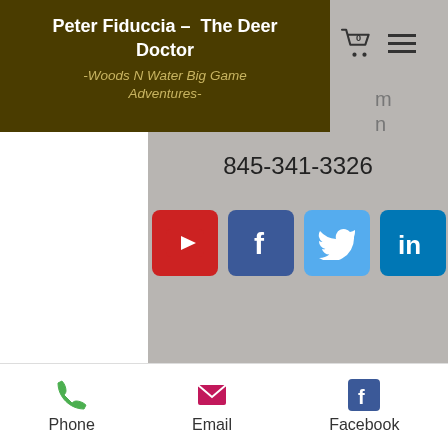Peter Fiduccia - The Deer Doctor
-Woods N Water Big Game Adventures-
845-341-3326
[Figure (logo): Social media icons row: YouTube, Facebook, Twitter, LinkedIn]
[Figure (infographic): Bottom navigation bar with Phone, Email, and Facebook icons]